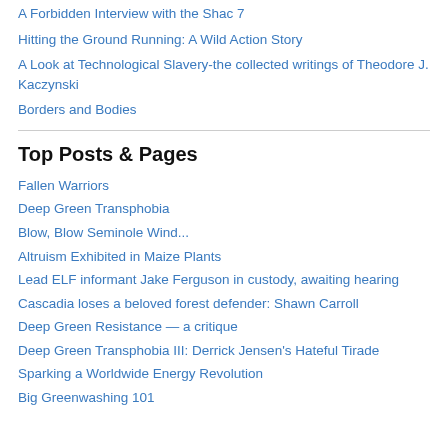A Forbidden Interview with the Shac 7
Hitting the Ground Running: A Wild Action Story
A Look at Technological Slavery-the collected writings of Theodore J. Kaczynski
Borders and Bodies
Top Posts & Pages
Fallen Warriors
Deep Green Transphobia
Blow, Blow Seminole Wind...
Altruism Exhibited in Maize Plants
Lead ELF informant Jake Ferguson in custody, awaiting hearing
Cascadia loses a beloved forest defender: Shawn Carroll
Deep Green Resistance — a critique
Deep Green Transphobia III: Derrick Jensen's Hateful Tirade
Sparking a Worldwide Energy Revolution
Big Greenwashing 101